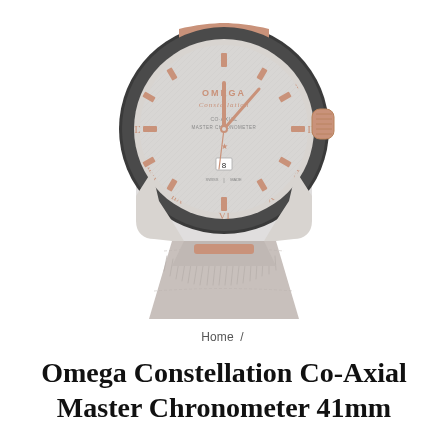[Figure (photo): Omega Constellation watch with rose gold and steel case, gray dial with Co-Axial Master Chronometer text, Roman numeral bezel, and gray leather strap on white background]
Home /
Omega Constellation Co-Axial Master Chronometer 41mm